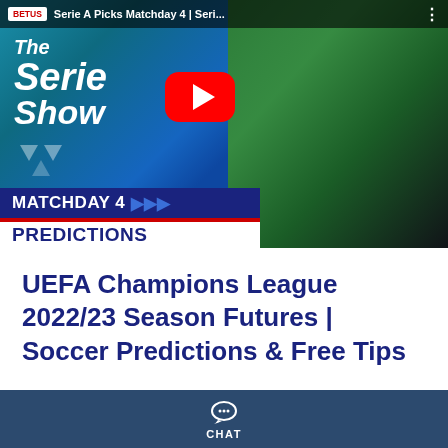[Figure (screenshot): YouTube video thumbnail for 'Serie A Picks Matchday 4 | Serie A Show' featuring The Serie A Show branding, a YouTube play button, MATCHDAY 4 PREDICTIONS banner, and two soccer players]
UEFA Champions League 2022/23 Season Futures | Soccer Predictions & Free Tips
[Figure (screenshot): Partial YouTube video thumbnail for Champions League related content, partially visible at bottom]
CHAT